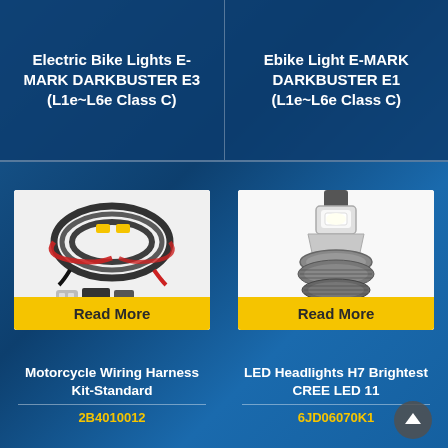Electric Bike Lights E-MARK DARKBUSTER E3 (L1e~L6e Class C)
Ebike Light E-MARK DARKBUSTER E1 (L1e~L6e Class C)
[Figure (photo): Motorcycle wiring harness kit with black and red cables bundled together with yellow connectors, and a small mounting bracket component below]
Read More
[Figure (photo): H7 LED headlight bulb with white LED chip visible at top, metal heat sink base, and fins for cooling]
Read More
Motorcycle Wiring Harness Kit-Standard
LED Headlights H7 Brightest CREE LED 11
2B4010012
6JD06070K1